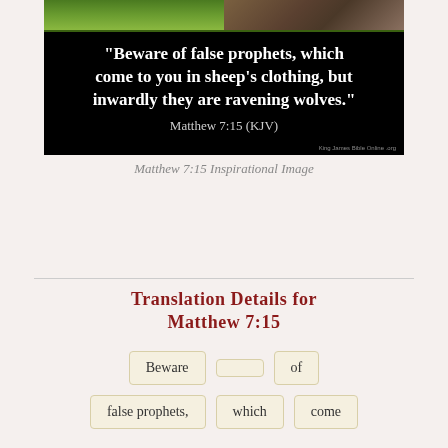[Figure (illustration): Inspirational image with black background showing a Bible verse: "Beware of false prophets, which come to you in sheep's clothing, but inwardly they are ravening wolves." Matthew 7:15 (KJV). Background shows grass and wolf imagery.]
Matthew 7:15 Inspirational Image
Translation Details for Matthew 7:15
Beware   of
false prophets,   which   come